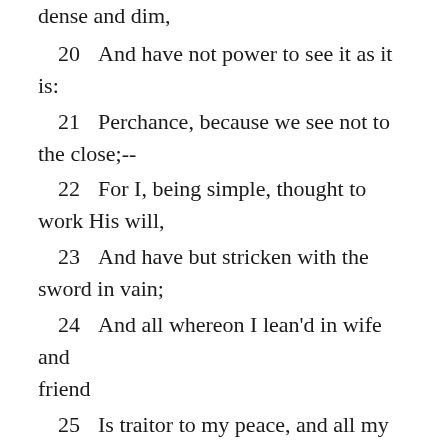dense and dim,
20     And have not power to see it as it is:
21     Perchance, because we see not to the close;--
22     For I, being simple, thought to work His will,
23     And have but stricken with the sword in vain;
24     And all whereon I lean'd in wife and friend
25     Is traitor to my peace, and all my realm
26     Reels back into the beast, and is no more.